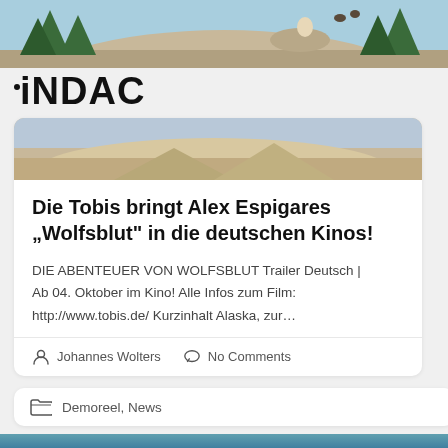[Figure (photo): Top image strip showing animated scene with wolf on rocky mountain with trees and blue sky background]
iNDAC
[Figure (photo): Second image strip showing continuation of animated wolf/mountain scene]
Die Tobis bringt Alex Espigares „Wolfsblut" in die deutschen Kinos!
DIE ABENTEUER VON WOLFSBLUT Trailer Deutsch | Ab 04. Oktober im Kino! Alle Infos zum Film: http://www.tobis.de/ Kurzinhalt Alaska, zur...
Johannes Wolters  No Comments
Demoreel, News